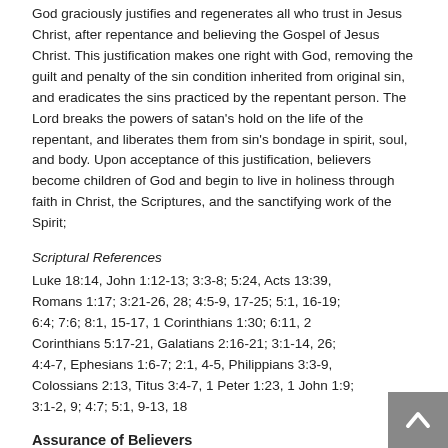God graciously justifies and regenerates all who trust in Jesus Christ, after repentance and believing the Gospel of Jesus Christ. This justification makes one right with God, removing the guilt and penalty of the sin condition inherited from original sin, and eradicates the sins practiced by the repentant person. The Lord breaks the powers of satan's hold on the life of the repentant, and liberates them from sin's bondage in spirit, soul, and body. Upon acceptance of this justification, believers become children of God and begin to live in holiness through faith in Christ, the Scriptures, and the sanctifying work of the Spirit;
Scriptural References
Luke 18:14, John 1:12-13; 3:3-8; 5:24, Acts 13:39, Romans 1:17; 3:21-26, 28; 4:5-9, 17-25; 5:1, 16-19; 6:4; 7:6; 8:1, 15-17, 1 Corinthians 1:30; 6:11, 2 Corinthians 5:17-21, Galatians 2:16-21; 3:1-14, 26; 4:4-7, Ephesians 1:6-7; 2:1, 4-5, Philippians 3:3-9, Colossians 2:13, Titus 3:4-7, 1 Peter 1:23, 1 John 1:9; 3:1-2, 9; 4:7; 5:1, 9-13, 18
Assurance of Believers
All believers are assured that they are children of God by the inward witness of God's Spirit with their spirit, by faith in the gracious promises of God's Word, and by the fruit of the Spirit in their lives. This